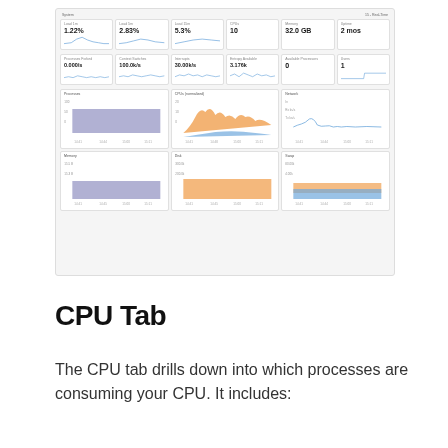[Figure (screenshot): System monitoring dashboard screenshot showing metric cards (Load 1m: 1.22%, Load 5m: 2.83%, Load 15m: 5.3%, CPUs: 10, Memory: 32.0 GB, Uptime: 2 mos, Processes Forked: 0.000/s, Context Switches: 100.0k/s, Interrupts: 30.00k/s, Entropy Available: 3.176k, Available Processors: 0, Users: 1) and six area charts for Processes, CPUs normalized, Network, Memory, Disk, and Swap.]
CPU Tab
The CPU tab drills down into which processes are consuming your CPU. It includes: